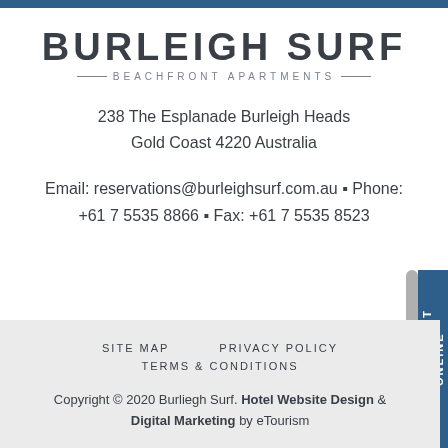[Figure (logo): Burleigh Surf Beachfront Apartments logo with large bold text 'BURLEIGH SURF' and subtitle 'BEACHFRONT APARTMENTS' with decorative lines]
238 The Esplanade Burleigh Heads
Gold Coast 4220 Australia
Email: reservations@burleighsurf.com.au • Phone: +61 7 5535 8866 • Fax: +61 7 5535 8523
SITE MAP   PRIVACY POLICY   TERMS & CONDITIONS
Copyright © 2020 Burliegh Surf. Hotel Website Design & Digital Marketing by eTourism